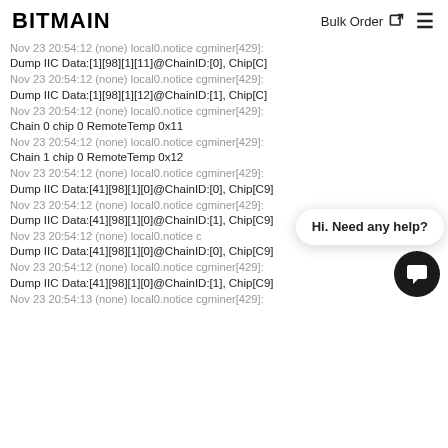BITMAIN  Bulk Order
Nov 23 20:54:12 (none) local0.notice cgminer[429]:
Dump IIC Data:[1][98][1][11]@ChainID:[0], Chip[C]
Nov 23 20:54:12 (none) local0.notice cgminer[429]:
Dump IIC Data:[1][98][1][12]@ChainID:[1], Chip[C]
Nov 23 20:54:12 (none) local0.notice cgminer[429]:
Chain 0 chip 0 RemoteTemp 0x11
Nov 23 20:54:12 (none) local0.notice cgminer[429]:
Chain 1 chip 0 RemoteTemp 0x12
Nov 23 20:54:12 (none) local0.notice cgminer[429]:
Dump IIC Data:[41][98][1][0]@ChainID:[0], Chip[C9]
Nov 23 20:54:12 (none) local0.notice cgminer[429]:
Dump IIC Data:[41][98][1][0]@ChainID:[1], Chip[C9]
Nov 23 20:54:12 (none) local0.notice c
Dump IIC Data:[41][98][1][0]@ChainID:[0], Chip[C9]
Nov 23 20:54:12 (none) local0.notice cgminer[429]:
Dump IIC Data:[41][98][1][0]@ChainID:[1], Chip[C9]
Nov 23 20:54:13 (none) local0.notice cgminer[429]: